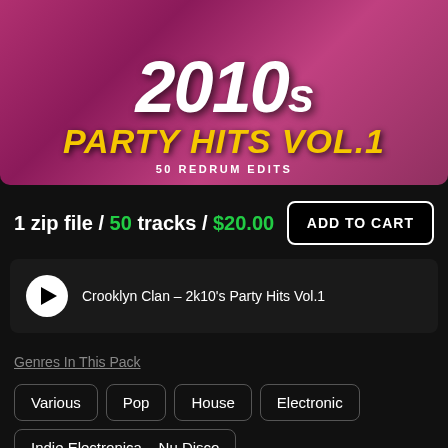[Figure (illustration): Album cover art for '2010s Party Hits Vol.1' with pink/magenta background, large white '2010s' text and yellow bold 'PARTY HITS VOL.1' subtitle, '50 REDRUM EDITS' caption below]
1 zip file / 50 tracks / $20.00
ADD TO CART
Crooklyn Clan – 2k10's Party Hits Vol.1
Genres In This Pack
Various
Pop
House
Electronic
Indie Electronica – Nu Disco